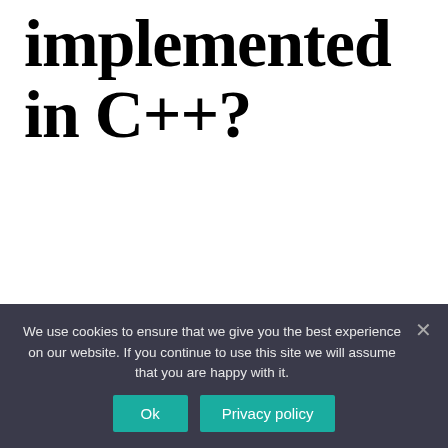implemented in C++?
std::map is a sorted associative container that contains key-value pairs with unique keys. Keys are sorted by using the comparison function Compare . Search, removal, and insertion operations have logarithmic complexity. Maps are usually
We use cookies to ensure that we give you the best experience on our website. If you continue to use this site we will assume that you are happy with it.